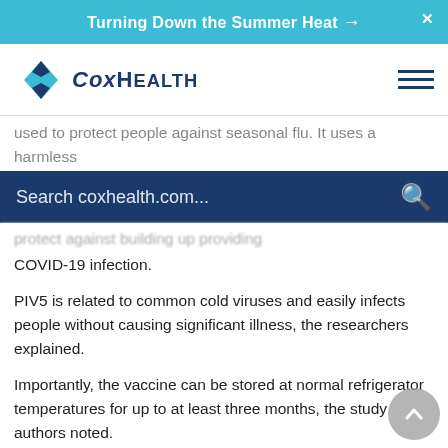Turning Down the Summer Heat →
[Figure (logo): CoxHealth logo with blue diamond star shape and CoxHealth text]
used to protect people against seasonal flu. It uses a harmless
Search coxhealth.com...
COVID-19 infection.
PIV5 is related to common cold viruses and easily infects people without causing significant illness, the researchers explained.
Importantly, the vaccine can be stored at normal refrigerator temperatures for up to at least three months, the study authors noted.
In mice, the vaccine prompted a localized immune response that involved antibodies and cellular immunity, and provided complete protection against deadly doses of SARS-CoV-2. In ferrets, the vaccine prevented infection and disease, and appeared to block transmission of the coronavirus from